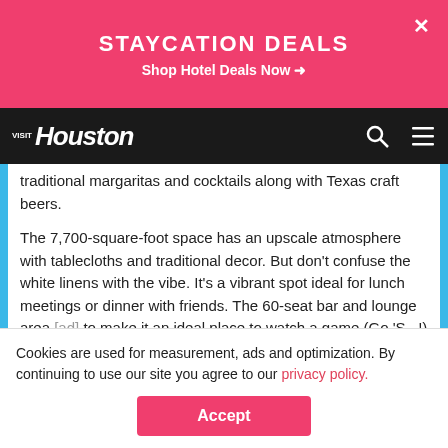[Figure (screenshot): Pink banner ad at top: STAYCATION DEALS / Shop Hotel Deals Now with arrow, and X close button]
[Figure (screenshot): Visit Houston navigation bar with logo, search icon and hamburger menu on dark background]
its classic Tex-Mex dishes like carnitas, enchiladas, wild boar and the ever-so-popular chips and queso. Prices range from $11 to $30. Irma's also offers traditional margaritas and cocktails along with Texas craft beers.
The 7,700-square-foot space has an upscale atmosphere with tablecloths and traditional decor. But don't confuse the white linens with the vibe. It's a vibrant spot ideal for lunch meetings or dinner with friends. The 60-seat bar and lounge area to make it an ideal place to watch a game (Go 'S...!) or g...
[Figure (screenshot): Blue mid-page ad: STAY, UNWIND, ENJOY / Hilton Houston Medical Center with hotel lobby photo and pink X close button]
Cookies are used for measurement, ads and optimization. By continuing to use our site you agree to our privacy policy.
[Figure (screenshot): Accept button (pink/magenta) for cookie consent]